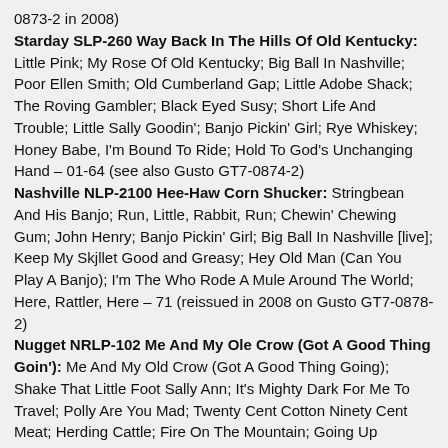0873-2 in 2008) Starday SLP-260 Way Back In The Hills Of Old Kentucky: Little Pink; My Rose Of Old Kentucky; Big Ball In Nashville; Poor Ellen Smith; Old Cumberland Gap; Little Adobe Shack; The Roving Gambler; Black Eyed Susy; Short Life And Trouble; Little Sally Goodin'; Banjo Pickin' Girl; Rye Whiskey; Honey Babe, I'm Bound To Ride; Hold To God's Unchanging Hand – 01-64 (see also Gusto GT7-0874-2) Nashville NLP-2100 Hee-Haw Corn Shucker: Stringbean And His Banjo; Run, Little, Rabbit, Run; Chewin' Chewing Gum; John Henry; Banjo Pickin' Girl; Big Ball In Nashville [live]; Keep My Skjllet Good and Greasy; Hey Old Man (Can You Play A Banjo); I'm The Who Rode A Mule Around The World; Here, Rattler, Here – 71 (reissued in 2008 on Gusto GT7-0878-2) Nugget NRLP-102 Me And My Ole Crow (Got A Good Thing Goin'): Me And My Old Crow (Got A Good Thing Going); Shake That Little Foot Sally Ann; It's Mighty Dark For Me To Travel; Polly Are You Mad; Twenty Cent Cotton Ninety Cent Meat; Herding Cattle; Fire On The Mountain; Going Up Surwood Mountain; That's What I Like About The South; Long Tall Sally; Nine Pound Hammer - 72 (CD reissue on Vine Street VSR D110) Ovation OV-1726 Goin' To The Grand Ole Opry: Goin' To The Grand Ole Opry; Cold Creek March; Banjo Convention; Two More Years And I'll Be Free; Little Maggie; John Henry; Short Life And Trouble; The Big 'Un